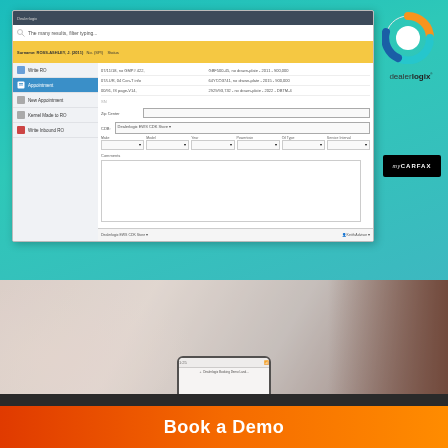[Figure (screenshot): Dealerlogix CRM software screenshot showing appointment scheduling interface with sidebar menu, customer search, and form fields]
[Figure (logo): Dealerlogix logo with circular orange/blue icon and dealerlogix text]
[Figure (logo): myCarfax logo on black background]
[Figure (photo): Blurred photo of hand holding smartphone, showing mobile interface]
Book a Demo